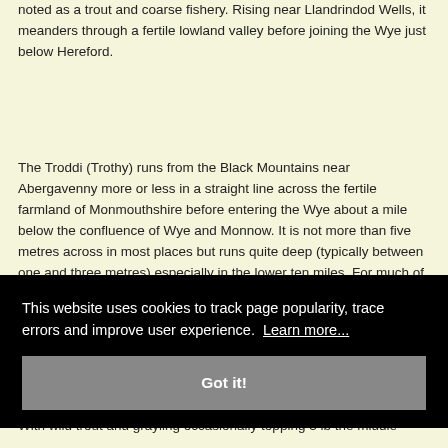noted as a trout and coarse fishery. Rising near Llandrindod Wells, it meanders through a fertile lowland valley before joining the Wye just below Hereford.
The Troddi (Trothy) runs from the Black Mountains near Abergavenny more or less in a straight line across the fertile farmland of Monmouthshire before entering the Wye about a mile below the confluence of Wye and Monnow. It is not more than five metres across in most places but runs quite deep (typically between one and three metres) especially in the lower ten miles. For much of its length it has high banks and plenty of overhanging trees. There is a good mayfly hatch peaking most [...]dges [...] ws (and [...] tchel [...] + and [...] nes. Fly [...] and
With wild trout and grayling occasionally topping 3 lb the middle
This website uses cookies to track page popularity, trace errors and improve user experience. Learn more...
Got it!